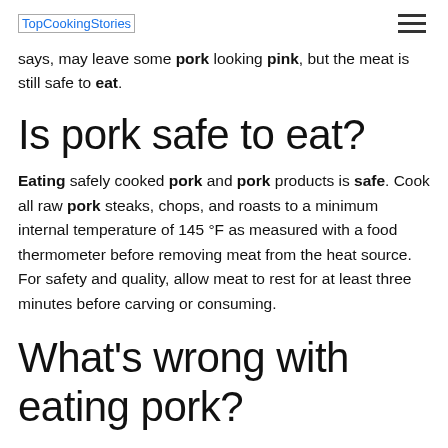TopCookingStories
says, may leave some pork looking pink, but the meat is still safe to eat.
Is pork safe to eat?
Eating safely cooked pork and pork products is safe. Cook all raw pork steaks, chops, and roasts to a minimum internal temperature of 145 °F as measured with a food thermometer before removing meat from the heat source. For safety and quality, allow meat to rest for at least three minutes before carving or consuming.
What's wrong with eating pork?